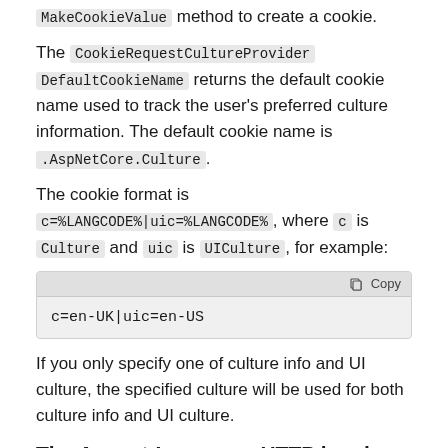MakeCookieValue method to create a cookie.
The CookieRequestCultureProvider DefaultCookieName returns the default cookie name used to track the user's preferred culture information. The default cookie name is .AspNetCore.Culture.
The cookie format is c=%LANGCODE%|uic=%LANGCODE%, where c is Culture and uic is UICulture, for example:
[Figure (screenshot): Code block showing: c=en-UK|uic=en-US with a Copy button in the header]
If you only specify one of culture info and UI culture, the specified culture will be used for both culture info and UI culture.
The Accept-Language HTTP header